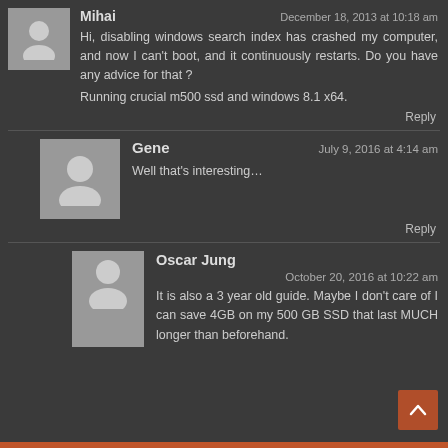Mihai
December 18, 2013 at 10:18 am
Hi, disabling windows search index has crashed my computer, and now I can't boot, and it continuously restarts. Do you have any advice for that ?
Running crucial m500 ssd and windows 8.1 x64.
Reply
Gene
July 9, 2016 at 4:14 am
Well that's interesting...
Reply
Oscar Jung
October 20, 2016 at 10:22 am
It is also a 3 year old guide. Maybe I don't care of I can save 4GB on my 500 GB SSD that last MUCH longer than beforehand.